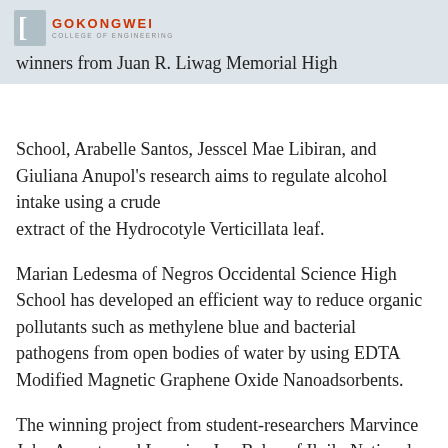GOKONGWEI COLLEGE OF ENGINEERING
winners from Juan R. Liwag Memorial High School, Arabelle Santos, Jesscel Mae Libiran, and Giuliana Anupol's research aims to regulate alcohol intake using a crude extract of the Hydrocotyle Verticillata leaf.
Marian Ledesma of Negros Occidental Science High School has developed an efficient way to reduce organic pollutants such as methylene blue and bacterial pathogens from open bodies of water by using EDTA Modified Magnetic Graphene Oxide Nanoadsorbents.
The winning project from student-researchers Marvince John Araneta and Lorraine Joy Balos of Iloilo National High School-Senior High